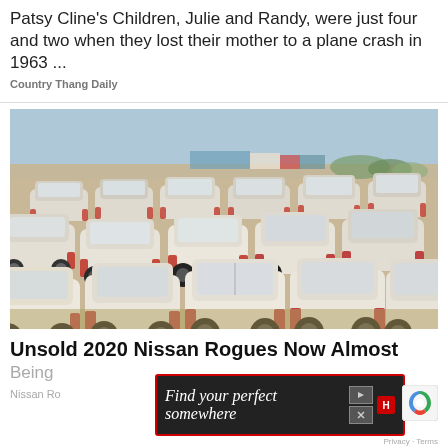Patsy Cline's Children, Julie and Randy, were just four and two when they lost their mother to a plane crash in 1963 ...
Country Thang Daily
[Figure (photo): Large outdoor lot filled with rows of white cars (Nissan Rogues), viewed from behind, dusty/sandy terrain, buildings and sky in background]
Unsold 2020 Nissan Rogues Now Almost Being
Nissan Ro
[Figure (other): Advertisement overlay: dark background with red border, text 'Find your perfect somewhere', play/close control buttons, red H icon]
Privacy · Terms